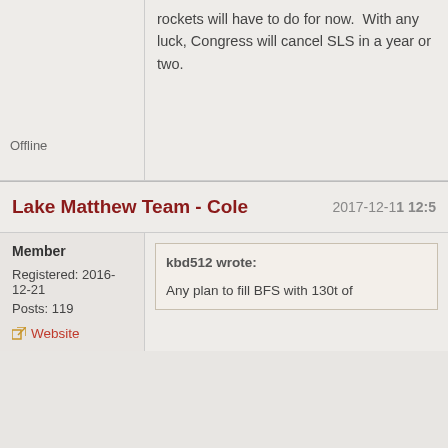rockets will have to do for now.  With any luck, Congress will cancel SLS in a year or two.
Offline
Lake Matthew Team - Cole
2017-12-11 12:5
Member
Registered: 2016-12-21
Posts: 119
Website
kbd512 wrote:
Any plan to fill BFS with 130t of